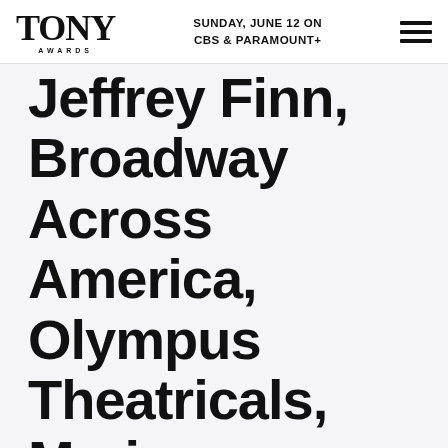TONY AWARDS — SUNDAY, JUNE 12 ON CBS & PARAMOUNT+
Jeffrey Finn, Broadway Across America, Olympus Theatricals, Marisa Sechrest, The Weinstein Company, Jon B. Platt, Sonia Friedman Productions/Rob...